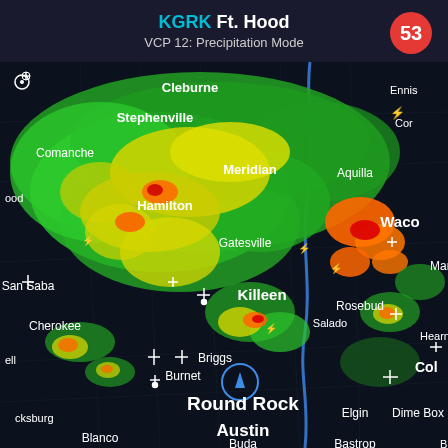KGRK Ft. Hood
VCP 12: Precipitation Mode
[Figure (map): Radar weather map centered on Fort Hood/Killeen Texas area showing precipitation in NEXRAD reflectivity colors (green, yellow, orange, red) over a dark map background. Visible city labels include Stephenville, Comanche, Meridian, Hamilton, Gatesville, Waco, Aquilla, Cleburne, Ennis, Marlin, Rosebud, Killeen, Salado, San Saba, Cherokee, Briggs, Burnet, Round Rock, Austin, Buda, Bastrop, Elgin, Dime Box, Blanco. A blue river line runs vertically through the center. Lightning bolt icons and radar station markers are scattered across the map.]